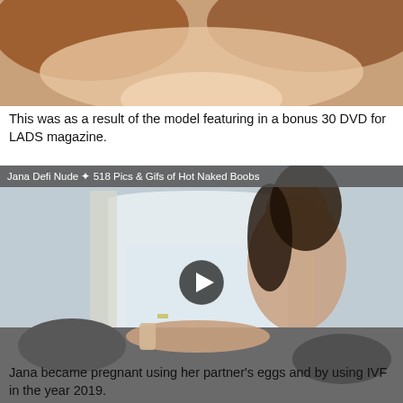[Figure (photo): Partial photo of a red-haired woman in a white top with a play button overlay at top]
This was as a result of the model featuring in a bonus 30 DVD for LADS magazine.
[Figure (photo): Photo of a dark-haired woman posing on furniture, with overlay title 'Jana Defi Nude ✦ 518 Pics & Gifs of Hot Naked Boobs' and a play button overlay]
Jana became pregnant using her partner's eggs and by using IVF in the year 2019.